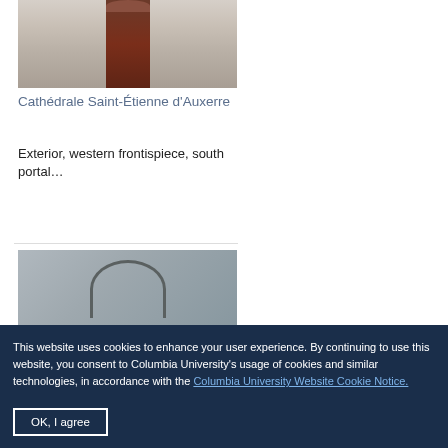[Figure (photo): Photograph of Cathédrale Saint-Étienne d'Auxerre exterior, showing western frontispiece with red door and stone carvings]
Cathédrale Saint-Étienne d'Auxerre
Exterior, western frontispiece, south portal…
[Figure (photo): Partial photograph showing gothic arch detail of cathedral exterior]
This website uses cookies to enhance your user experience. By continuing to use this website, you consent to Columbia University's usage of cookies and similar technologies, in accordance with the Columbia University Website Cookie Notice.
OK, I agree